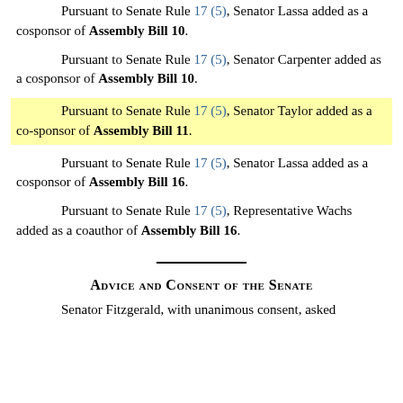Pursuant to Senate Rule 17 (5), Senator Lassa added as a cosponsor of Assembly Bill 10.
Pursuant to Senate Rule 17 (5), Senator Carpenter added as a cosponsor of Assembly Bill 10.
Pursuant to Senate Rule 17 (5), Senator Taylor added as a co-sponsor of Assembly Bill 11.
Pursuant to Senate Rule 17 (5), Senator Lassa added as a cosponsor of Assembly Bill 16.
Pursuant to Senate Rule 17 (5), Representative Wachs added as a coauthor of Assembly Bill 16.
Advice and Consent of the Senate
Senator Fitzgerald, with unanimous consent, asked